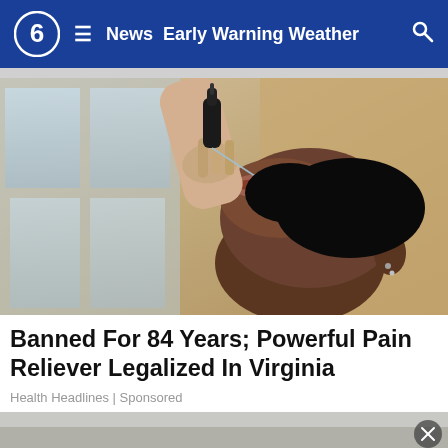News  Early Warning Weather
[Figure (photo): Woman tilting her head back and using a dropper to place liquid into her mouth, photographed from below against a blurred indoor background]
Banned For 84 Years; Powerful Pain Reliever Legalized In Virginia
Health Headlines | Sponsored
[Figure (photo): Partially visible second advertisement image at bottom of page with close button]